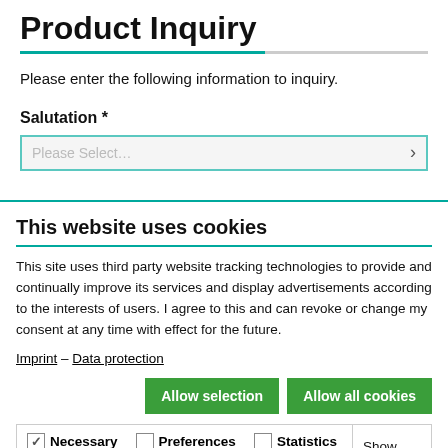Product Inquiry
Please enter the following information to inquiry.
Salutation *
This website uses cookies
This site uses third party website tracking technologies to provide and continually improve its services and display advertisements according to the interests of users. I agree to this and can revoke or change my consent at any time with effect for the future.
Imprint – Data protection
Allow selection | Allow all cookies
Necessary  Preferences  Statistics  Marketing  Show details